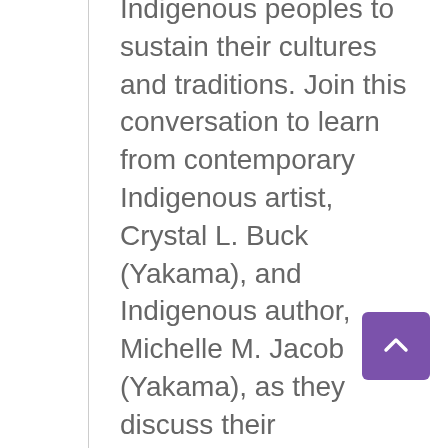Indigenous peoples to sustain their cultures and traditions. Join this conversation to learn from contemporary Indigenous artist, Crystal L. Buck (Yakama), and Indigenous author, Michelle M. Jacob (Yakama), as they discuss their collaborations across several projects. Learn about what inspires Indigenous artwork and storytelling, and what messages these Yakama women have for our contemporary times. All are welcome at this gathering that
[Figure (other): Purple scroll-to-top button with upward-pointing chevron arrow]